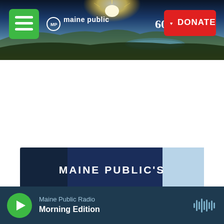[Figure (screenshot): Maine Public website header with scenic Maine sunrise landscape photo, green hamburger menu button, Maine Public 60th anniversary logo, and red DONATE button]
[Figure (illustration): Maine Public's Passport to Adventure promotional banner with navy blue background, large gold 'PASSPORT' text, white 'MAINE PUBLIC'S' and 'TO ADVENTURE' text, pine trees on sides, Maine state seal in gold at bottom]
Maine Public Radio
Morning Edition